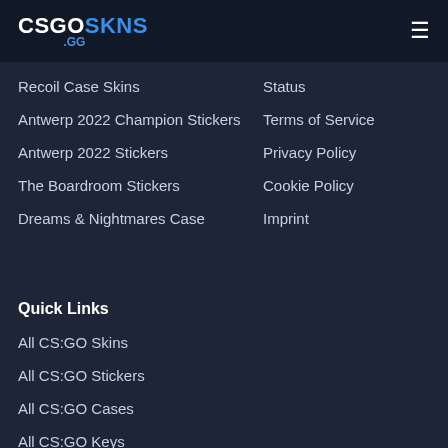CSGOSKINS.GG
Recoil Case Skins
Status
Antwerp 2022 Champion Stickers
Terms of Service
Antwerp 2022 Stickers
Privacy Policy
The Boardroom Stickers
Cookie Policy
Dreams & Nightmares Case
Imprint
Quick Links
All CS:GO Skins
All CS:GO Stickers
All CS:GO Cases
All CS:GO Keys